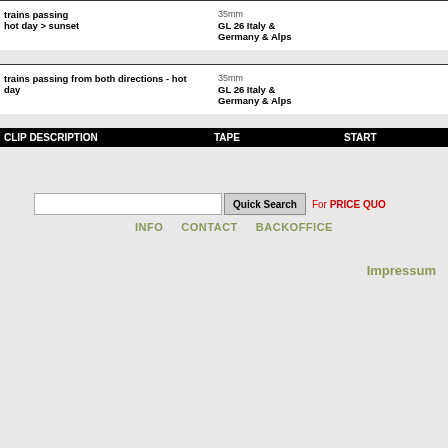trains passing hot day > sunset | 35mm GL 26 Italy & Germany & Alps
trains passing from both directions - hot day | 35mm GL 26 Italy & Germany & Alps
| CLIP DESCRIPTION | TAPE | START |
| --- | --- | --- |
Quick Search | For PRICE QUO...
INFO   CONTACT   BACKOFFICE
Impressum